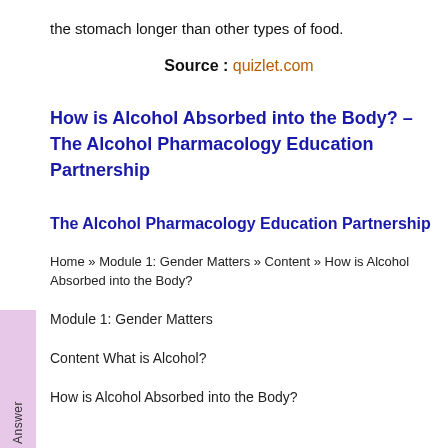the stomach longer than other types of food.
Source : quizlet.com
How is Alcohol Absorbed into the Body? – The Alcohol Pharmacology Education Partnership
The Alcohol Pharmacology Education Partnership
Home » Module 1: Gender Matters » Content » How is Alcohol Absorbed into the Body?
Module 1: Gender Matters
Content What is Alcohol?
How is Alcohol Absorbed into the Body?